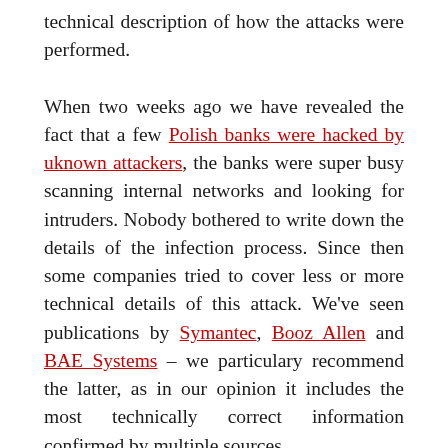technical description of how the attacks were performed.
When two weeks ago we have revealed the fact that a few Polish banks were hacked by uknown attackers, the banks were super busy scanning internal networks and looking for intruders. Nobody bothered to write down the details of the infection process. Since then some companies tried to cover less or more technical details of this attack. We've seen publications by Symantec, Booz Allen and BAE Systems – we particulary recommend the latter, as in our opinion it includes the most technically correct information confirmed by multiple sources.